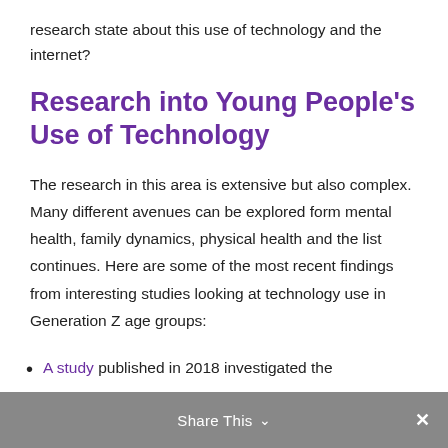research state about this use of technology and the internet?
Research into Young People's Use of Technology
The research in this area is extensive but also complex. Many different avenues can be explored form mental health, family dynamics, physical health and the list continues. Here are some of the most recent findings from interesting studies looking at technology use in Generation Z age groups:
A study published in 2018 investigated the
Share This ˅ ✕